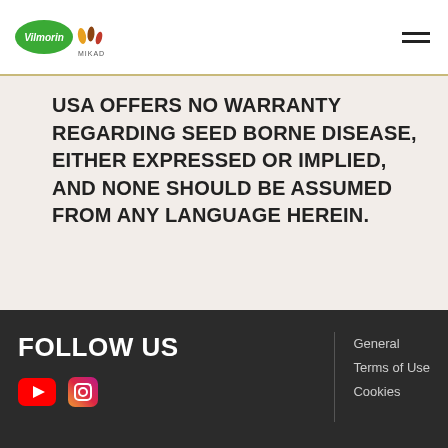Vilmorin Mikado
USA OFFERS NO WARRANTY REGARDING SEED BORNE DISEASE, EITHER EXPRESSED OR IMPLIED, AND NONE SHOULD BE ASSUMED FROM ANY LANGUAGE HEREIN.
FOLLOW US | General | Terms of Use | Cookies